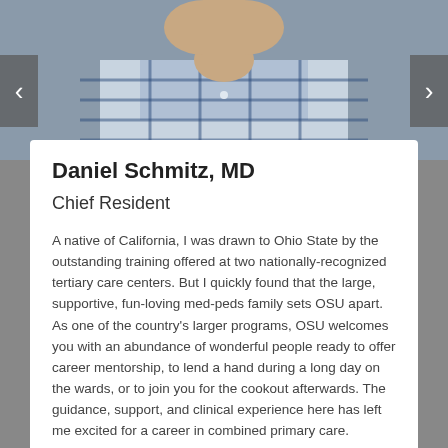[Figure (photo): Headshot photo of a man in a blue plaid shirt, cropped at chest level, gray background]
Daniel Schmitz, MD
Chief Resident
A native of California, I was drawn to Ohio State by the outstanding training offered at two nationally-recognized tertiary care centers. But I quickly found that the large, supportive, fun-loving med-peds family sets OSU apart. As one of the country's larger programs, OSU welcomes you with an abundance of wonderful people ready to offer career mentorship, to lend a hand during a long day on the wards, or to join you for the cookout afterwards. The guidance, support, and clinical experience here has left me excited for a career in combined primary care. Outside of work, you can find me running one of the many beautiful parks and trails in Columbus and following it up with a visit to one of the great local restaurants or breweries. Aisha and I and our residents are excited